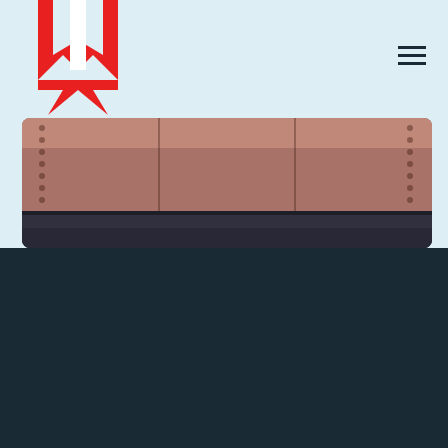[Figure (logo): MEININGER Hotels logo — red M shape with downward arrow, partially visible at top-left on light blue background]
[Figure (photo): Close-up photograph of a metal riveted panel (copper/brown tone) above dark blue-grey surface, shown against light blue background]
MEININGER
About us
Data privacy statement
DESTINATIONEN